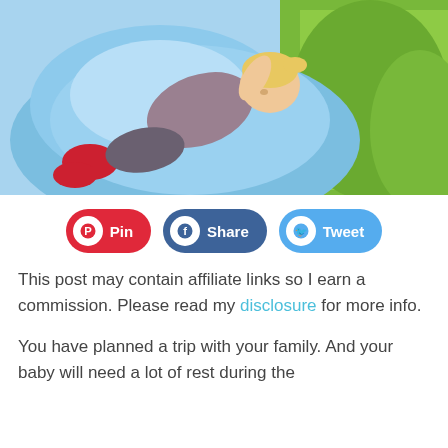[Figure (photo): A young blonde girl sleeping on a large blue inflatable bean bag chair outdoors on green grass]
Pin | Share | Tweet
This post may contain affiliate links so I earn a commission. Please read my disclosure for more info.
You have planned a trip with your family. And your baby will need a lot of rest during the